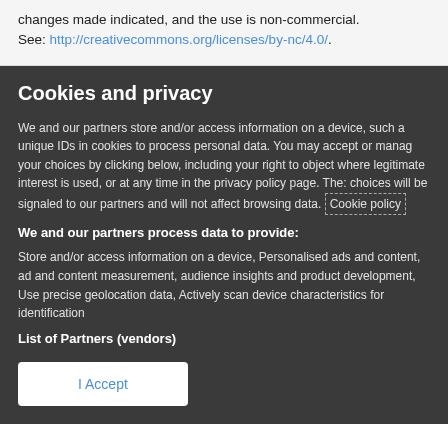changes made indicated, and the use is non-commercial. See: http://creativecommons.org/licenses/by-nc/4.0/.
Cookies and privacy
We and our partners store and/or access information on a device, such a unique IDs in cookies to process personal data. You may accept or manage your choices by clicking below, including your right to object where legitimate interest is used, or at any time in the privacy policy page. These choices will be signaled to our partners and will not affect browsing data. Cookie policy
We and our partners process data to provide:
Store and/or access information on a device, Personalised ads and content, ad and content measurement, audience insights and product development, Use precise geolocation data, Actively scan device characteristics for identification
List of Partners (vendors)
I Accept